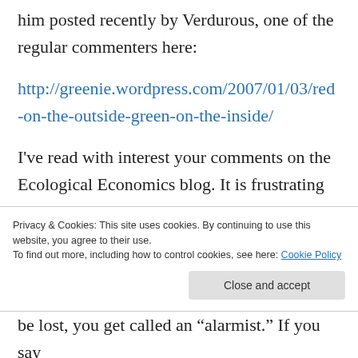him posted recently by Verdurous, one of the regular commenters here:
http://greenie.wordpress.com/2007/01/03/red-on-the-outside-green-on-the-inside/
I've read with interest your comments on the Ecological Economics blog. It is frustrating indeed that the works of people like Pimentel and Hopfenberg (whose article on carrying capacity and food production I have sitting on my
be lost, you get called an “alarmist.” If you say